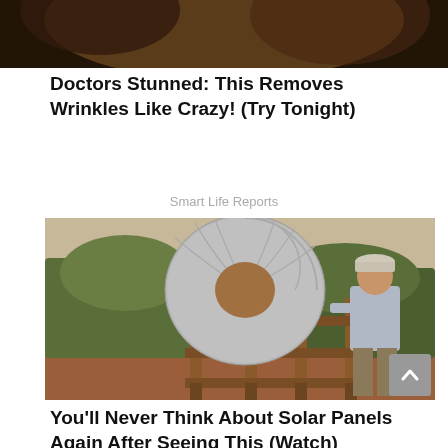[Figure (photo): Partial top image, cropped — appears to be a blurry/dark close-up photo]
Doctors Stunned: This Removes Wrinkles Like Crazy! (Try Tonight)
Smart Life Reports
[Figure (photo): Man standing next to a homemade solar concentrator dish on a wooden frame outdoors in a desert/scrubland setting]
You'll Never Think About Solar Panels Again After Seeing This (Watch)